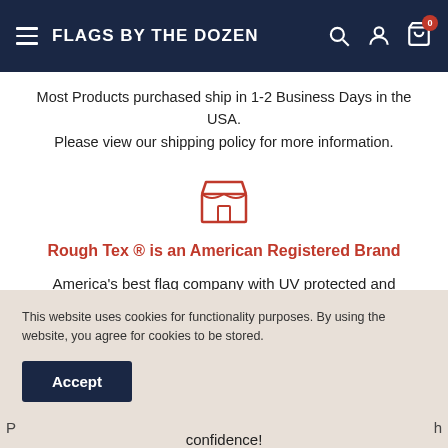FLAGS BY THE DOZEN
Most Products purchased ship in 1-2 Business Days in the USA. Please view our shipping policy for more information.
[Figure (illustration): Red outline store/shop icon]
Rough Tex ® is an American Registered Brand
America's best flag company with UV protected and waterproof Rough Tex flag fabric exclusive from Ruffin Flag Company in Washington, Georgia.
This website uses cookies for functionality purposes. By using the website, you agree for cookies to be stored.
Accept
confidence!